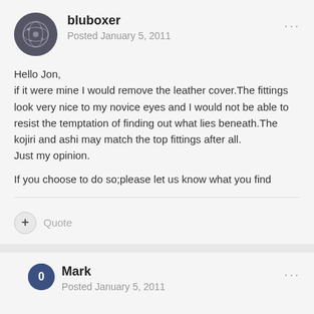bluboxer
Posted January 5, 2011
Hello Jon,
if it were mine I would remove the leather cover.The fittings look very nice to my novice eyes and I would not be able to resist the temptation of finding out what lies beneath.The kojiri and ashi may match the top fittings after all.
Just my opinion.

If you choose to do so;please let us know what you find
Quote
Mark
Posted January 5, 2011